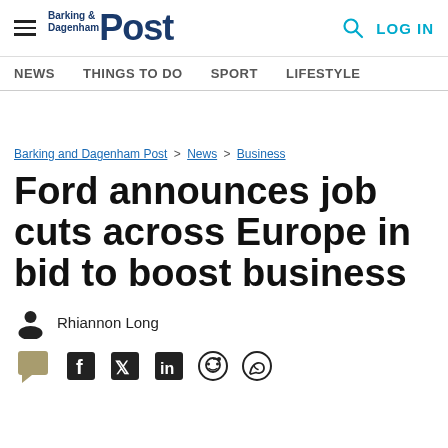Barking & Dagenham Post — NEWS | THINGS TO DO | SPORT | LIFESTYLE | LOG IN
Barking and Dagenham Post > News > Business
Ford announces job cuts across Europe in bid to boost business
Rhiannon Long
[Figure (other): Social share icons: comment, Facebook, Twitter, LinkedIn, Reddit, WhatsApp]